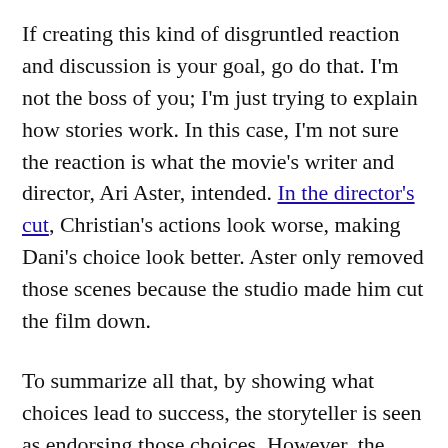If creating this kind of disgruntled reaction and discussion is your goal, go do that. I'm not the boss of you; I'm just trying to explain how stories work. In this case, I'm not sure the reaction is what the movie's writer and director, Ari Aster, intended. In the director's cut, Christian's actions look worse, making Dani's choice look better. Aster only removed those scenes because the studio made him cut the film down.
To summarize all that, by showing what choices lead to success, the storyteller is seen as endorsing those choices. However, the audience has their own opinions about what choices are good choices. They want characters to be rewarded for making the right choice, not the wrong one. This can create